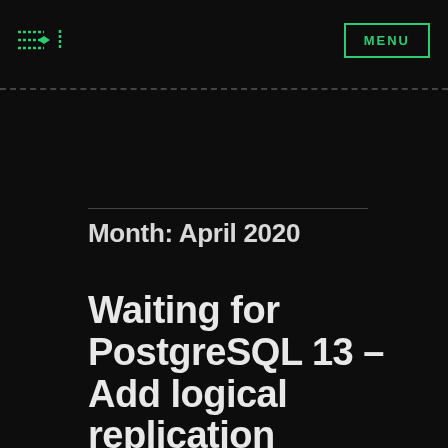MENU
Month: April 2020
Waiting for PostgreSQL 13 – Add logical replication support to